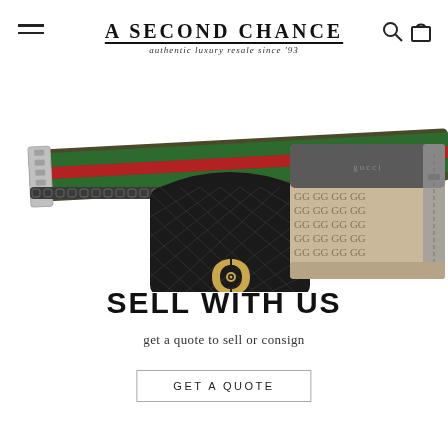A SECOND CHANCE — authentic luxury resale since '93
[Figure (photo): Product photo showing luxury belt bags: a black quilted Chanel belt bag with gold CC hardware, a Gucci monogram canvas belt bag with brown leather trim, and a striped green and red Gucci web strap in the background.]
SELL WITH US
get a quote to sell or consign
GET A QUOTE